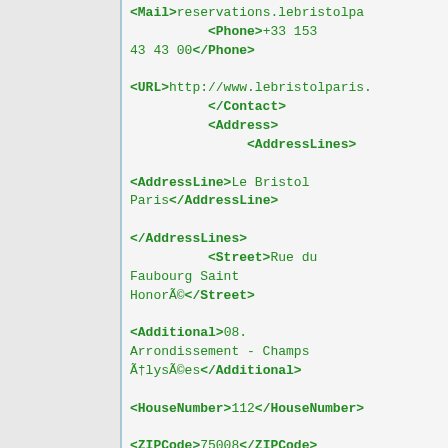<Mail>reservations.lebristolpa... <Phone>+33 153 43 43 00</Phone> <URL>http://www.lebristolparis... </Contact> <Address> <AddressLines> <AddressLine>Le Bristol Paris</AddressLine> </AddressLines> <Street>Rue du Faubourg Saint HonorÃ©</Street> <Additional>08. Arrondissement - Champs Ã‰lysÃ©es</Additional> <HouseNumber>112</HouseNumber> <ZIPCode>75008</ZIPCode>